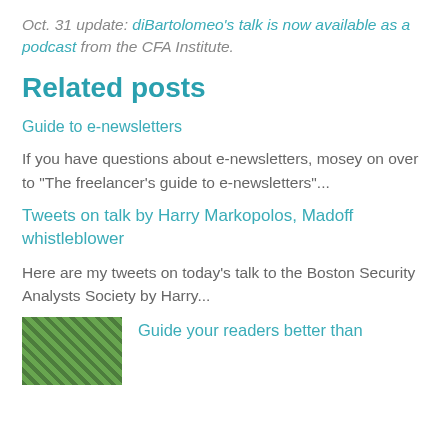Oct. 31 update: diBartolomeo's talk is now available as a podcast from the CFA Institute.
Related posts
Guide to e-newsletters
If you have questions about e-newsletters, mosey on over to "The freelancer's guide to e-newsletters"...
Tweets on talk by Harry Markopolos, Madoff whistleblower
Here are my tweets on today's talk to the Boston Security Analysts Society by Harry...
Guide your readers better than